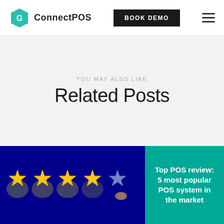ConnectPOS | BOOK DEMO
YOU MAY ALSO LIKE
Related Posts
[Figure (photo): A hand pointing at a 5-star rating with 4 gold stars and 1 blue/grey star on a dark blue background]
Top POS review: 5 most popular POS system in the market